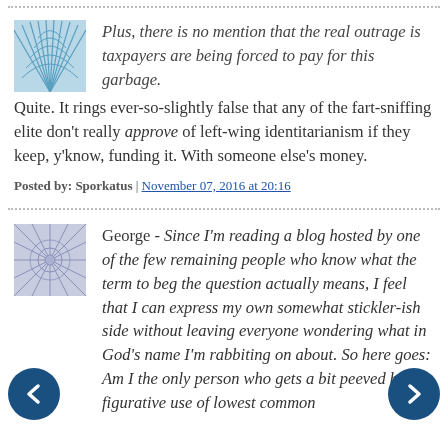Plus, there is no mention that the real outrage is taxpayers are being forced to pay for this garbage.
Quite. It rings ever-so-slightly false that any of the fart-sniffing elite don't really approve of left-wing identitarianism if they keep, y'know, funding it. With someone else's money.
Posted by: Sporkatus | November 07, 2016 at 20:16
George - Since I'm reading a blog hosted by one of the few remaining people who know what the term to beg the question actually means, I feel that I can express my own somewhat stickler-ish side without leaving everyone wondering what in God's name I'm rabbiting on about. So here goes: Am I the only person who gets a bit peeved by the figurative use of lowest common